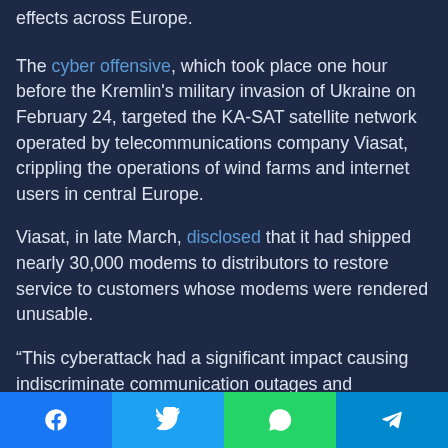effects across Europe.
The cyber offensive, which took place one hour before the Kremlin's military invasion of Ukraine on February 24, targeted the KA-SAT satellite network operated by telecommunications company Viasat, crippling the operations of wind farms and internet users in central Europe.
Viasat, in late March, disclosed that it had shipped nearly 30,000 modems to distributors to restore service to customers whose modems were rendered unusable.
“This cyberattack had a significant impact causing indiscriminate communication outages and disruptions across several public authorities, businesses and users in
[Figure (other): Social share bar with Facebook, Twitter, WhatsApp, and Telegram buttons]